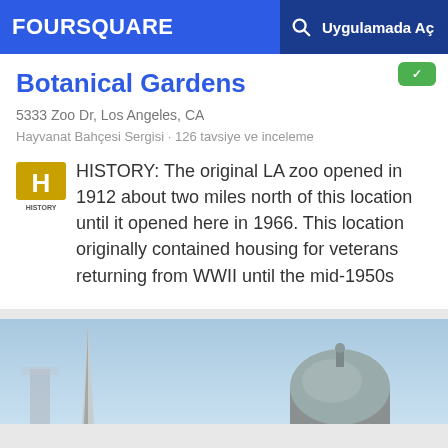FOURSQUARE   🔍   Uygulamada Aç
Botanical Gardens
5333 Zoo Dr, Los Angeles, CA
Hayvanat Bahçesi Sergisi · 126 tavsiye ve inceleme
HISTORY: The original LA zoo opened in 1912 about two miles north of this location until it opened here in 1966. This location originally contained housing for veterans returning from WWII until the mid-1950s
[Figure (photo): Outdoor scene with obelisk/monument and a dome structure against a light blue sky]